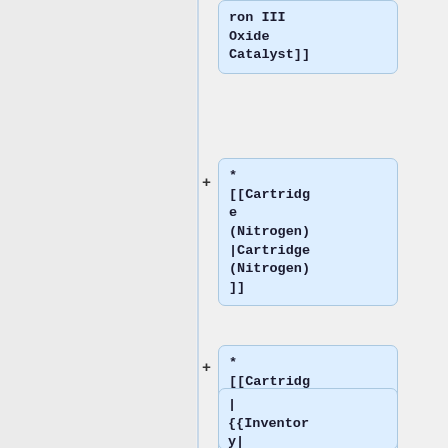ron III
Oxide
Catalyst]]
* [[Cartridge (Nitrogen)|Cartridge (Nitrogen)]]
* [[Cartridge (Hydrogen)|Cartridge (Hydrogen)]]
| {{Inventory|